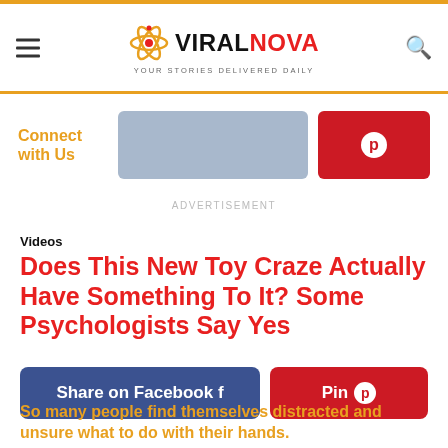ViralNova — Your Stories Delivered Daily
Connect with Us
ADVERTISEMENT
Videos
Does This New Toy Craze Actually Have Something To It? Some Psychologists Say Yes
Share on Facebook
Pin
So many people find themselves distracted and unsure what to do with their hands.